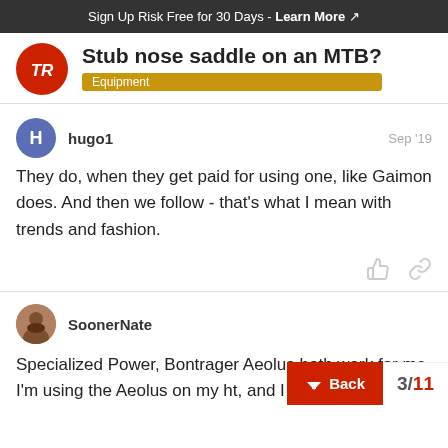Sign Up Risk Free for 30 Days - Learn More
Stub nose saddle on an MTB?
Equipment
hugo1
Sep '19
They do, when they get paid for using one, like Gaimon does. And then we follow - that’s what I mean with trends and fashion.
SoonerNate
Specialized Power, Bontrager Aeolus both work for me I’m using the Aeolus on my ht, and I li…
Back
3 / 11